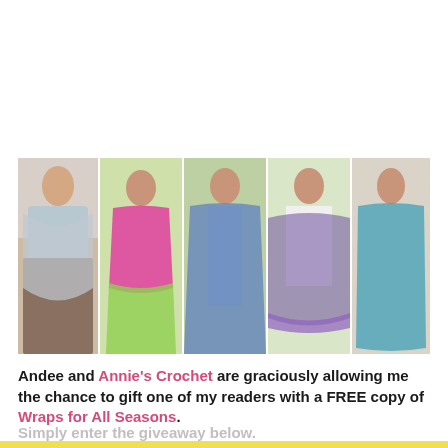[Figure (photo): Collage of five women modeling crochet wraps and shawls in various colors including gray, pink/green, blue, purple/multicolor, and teal]
Andee and Annie's Crochet are graciously allowing me the chance to gift one of my readers with a FREE copy of Wraps for All Seasons.
Simply enter the giveaway below.